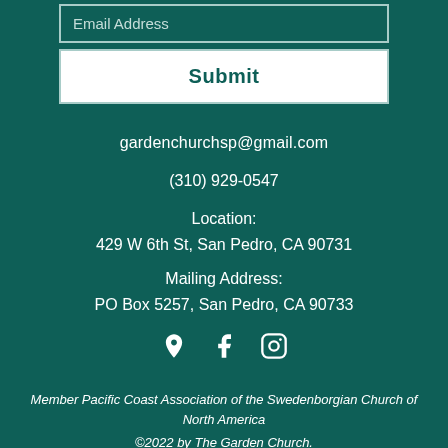Email Address
Submit
gardenchurchsp@gmail.com
(310) 929-0547
Location:
429 W 6th St, San Pedro, CA 90731
Mailing Address:
PO Box 5257, San Pedro, CA 90733
[Figure (infographic): Social media icons: location pin, Facebook, Instagram]
Member Pacific Coast Association of the Swedenborgian Church of North America
©2022 by The Garden Church.